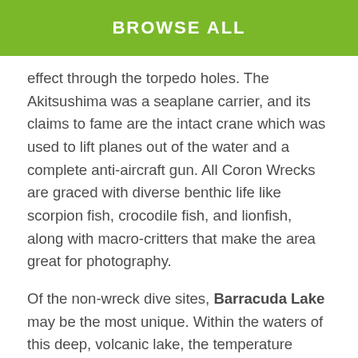BROWSE ALL
effect through the torpedo holes. The Akitsushima was a seaplane carrier, and its claims to fame are the intact crane which was used to lift planes out of the water and a complete anti-aircraft gun. All Coron Wrecks are graced with diverse benthic life like scorpion fish, crocodile fish, and lionfish, along with macro-critters that make the area great for photography.
Of the non-wreck dive sites, Barracuda Lake may be the most unique. Within the waters of this deep, volcanic lake, the temperature increases as you descend. From the top layer of